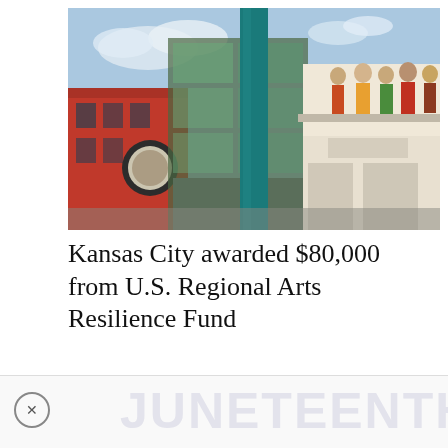[Figure (photo): Outdoor photograph of Kansas City arts district street scene showing colorful brick buildings including a red building with a large circular sign on the left, a modern glass and brick building in the center with a tall teal/green column, and on the right side a white building facade with a mural or sculpture of figures (people) visible on an upper ledge. Blue sky with clouds in background.]
Kansas City awarded $80,000 from U.S. Regional Arts Resilience Fund
[Figure (other): Advertisement banner at bottom of page. Contains a circular close button with X on the left and large light watermark-style text reading JUNETEENTH in the center-right area.]